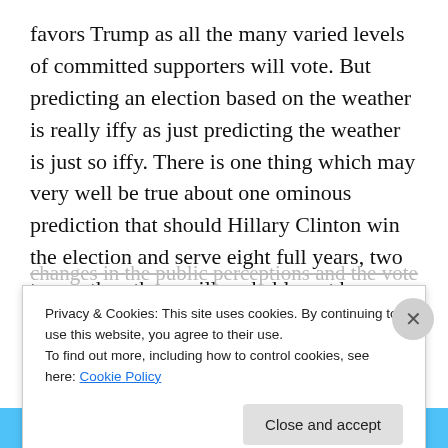favors Trump as all the many varied levels of committed supporters will vote. But predicting an election based on the weather is really iffy as just predicting the weather is just so iffy. There is one thing which may very well be true about one ominous prediction that should Hillary Clinton win the election and serve eight full years, two terms, then there will probably not be another Republican President for at least forty to fifty-two years. Should Trump win and be reelected then the Republican Party will have been reborn quite a bit faster than having to react to the changes in the public perceptions and the voter make-up
Privacy & Cookies: This site uses cookies. By continuing to use this website, you agree to their use.
To find out more, including how to control cookies, see here: Cookie Policy
Close and accept